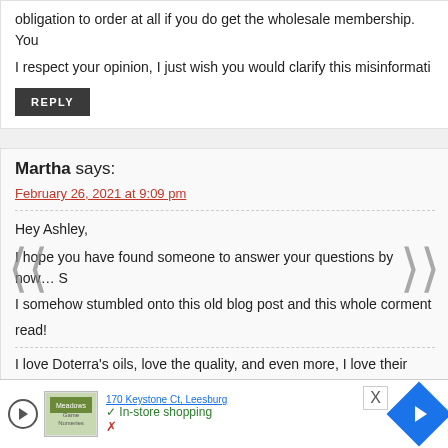obligation to order at all if you do get the wholesale membership. You
I respect your opinion, I just wish you would clarify this misinformati
REPLY
Martha says:
February 26, 2021 at 9:09 pm
Hey Ashley,
I hope you have found someone to answer your questions by now… S
I somehow stumbled onto this old blog post and this whole comment
read!
I love Doterra's oils, love the quality, and even more, I love their trans
fair and honest practices, plus their healing hands foundation is amazi.
As a happy oil user, I also love helping others find wellness solutions.
info about oils or wondering what specifically might help them,
170 Keystone Ct, Leesburg
In-store shopping